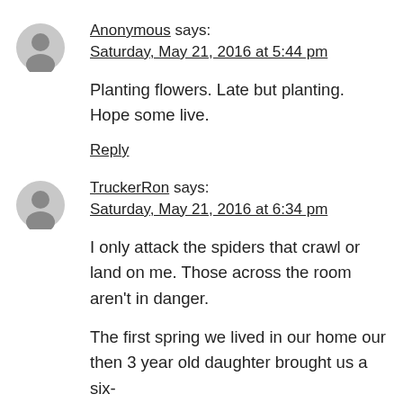Anonymous says:
Saturday, May 21, 2016 at 5:44 pm
Planting flowers. Late but planting. Hope some live.
Reply
TruckerRon says:
Saturday, May 21, 2016 at 6:34 pm
I only attack the spiders that crawl or land on me. Those across the room aren't in danger.
The first spring we lived in our home our then 3 year old daughter brought us a six-